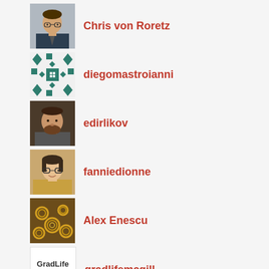[Figure (photo): Profile photo of Chris von Roretz - man in suit with glasses]
Chris von Roretz
[Figure (illustration): Decorative teal geometric pattern avatar for diegomastroianni]
diegomastroianni
[Figure (photo): Profile photo of edirlikov - man with beard]
edirlikov
[Figure (photo): Profile photo of fanniedionne - woman with glasses]
fanniedionne
[Figure (photo): Profile photo of Alex Enescu - coiled golden objects]
Alex Enescu
[Figure (logo): GradLife McGill logo]
gradlifemcgill
[Figure (illustration): Partial teal geometric pattern avatar at bottom]